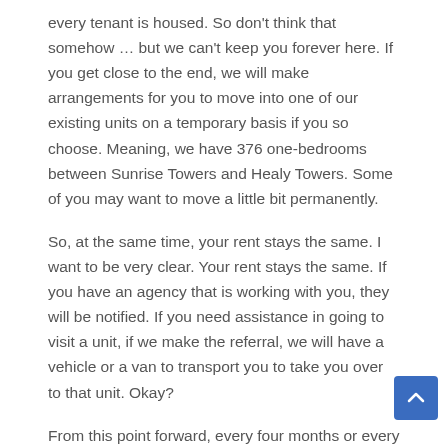every tenant is housed. So don't think that somehow … but we can't keep you forever here. If you get close to the end, we will make arrangements for you to move into one of our existing units on a temporary basis if you so choose. Meaning, we have 376 one-bedrooms between Sunrise Towers and Healy Towers. Some of you may want to move a little bit permanently.
So, at the same time, your rent stays the same. I want to be very clear. Your rent stays the same. If you have an agency that is working with you, they will be notified. If you need assistance in going to visit a unit, if we make the referral, we will have a vehicle or a van to transport you to take you over to that unit. Okay?
From this point forward, every four months or every three months, we will be back here to give you an update, so that you will not be in the dark. But we will have to get back to you. Where we're registered in the application. Okay? I want to be clear. Housing authorities across America have gone through this. You can check